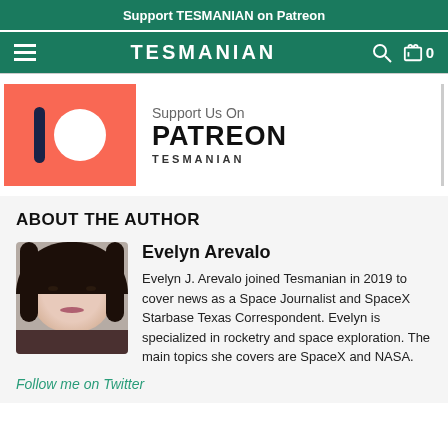Support TESMANIAN on Patreon
TESMANIAN
[Figure (logo): Patreon logo with orange background, dark pill shape and white circle, alongside text 'Support Us On PATREON TESMANIAN']
ABOUT THE AUTHOR
[Figure (photo): Headshot photo of Evelyn Arevalo, a young woman with dark hair]
Evelyn Arevalo
Evelyn J. Arevalo joined Tesmanian in 2019 to cover news as a Space Journalist and SpaceX Starbase Texas Correspondent. Evelyn is specialized in rocketry and space exploration. The main topics she covers are SpaceX and NASA.
Follow me on Twitter